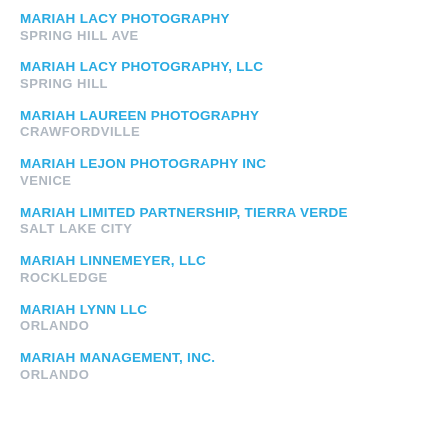MARIAH LACY PHOTOGRAPHY
SPRING HILL AVE
MARIAH LACY PHOTOGRAPHY, LLC
SPRING HILL
MARIAH LAUREEN PHOTOGRAPHY
CRAWFORDVILLE
MARIAH LEJON PHOTOGRAPHY INC
VENICE
MARIAH LIMITED PARTNERSHIP, TIERRA VERDE
SALT LAKE CITY
MARIAH LINNEMEYER, LLC
ROCKLEDGE
MARIAH LYNN LLC
ORLANDO
MARIAH MANAGEMENT, INC.
ORLANDO